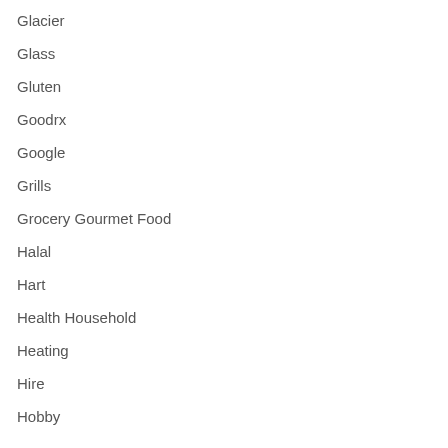Glacier
Glass
Gluten
Goodrx
Google
Grills
Grocery Gourmet Food
Halal
Hart
Health Household
Heating
Hire
Hobby